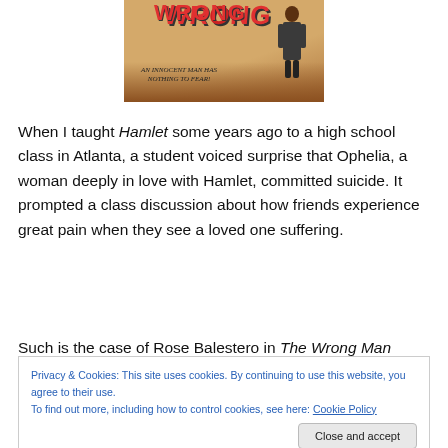[Figure (illustration): Movie poster for 'The Wrong Man' showing large red title text at top, tagline 'AN INNOCENT MAN HAS NOTHING TO FEAR!' in small italic text, and a silhouette of a man in a suit on brown/warm background.]
When I taught Hamlet some years ago to a high school class in Atlanta, a student voiced surprise that Ophelia, a woman deeply in love with Hamlet, committed suicide. It prompted a class discussion about how friends experience great pain when they see a loved one suffering.
Such is the case of Rose Balestero in The Wrong Man
Privacy & Cookies: This site uses cookies. By continuing to use this website, you agree to their use.
To find out more, including how to control cookies, see here: Cookie Policy
prestigious Stork Club in New York City. He enjoys his